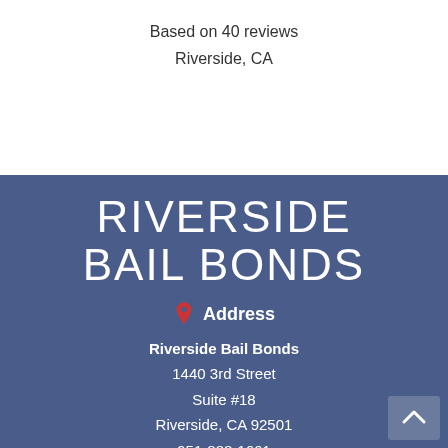Based on 40 reviews
Riverside, CA
RIVERSIDE BAIL BONDS
Address
Riverside Bail Bonds
1440 3rd Street
Suite #18
Riverside, CA 92501
951-888-1661
Bail License Number #1841469
Contact
Riverside: 951-788-2663